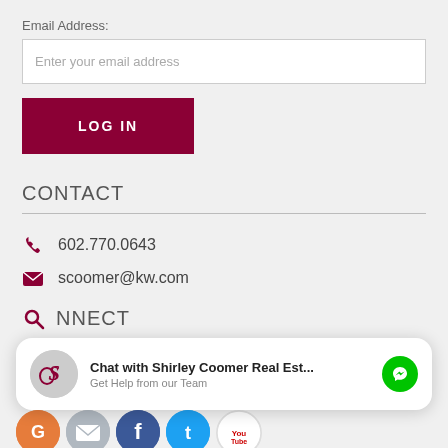Email Address:
Enter your email address
LOG IN
CONTACT
602.770.0643
scoomer@kw.com
NNECT
Chat with Shirley Coomer Real Est... Get Help from our Team
[Figure (other): Row of social media icons: Google+, Mail, Facebook, Twitter, YouTube]